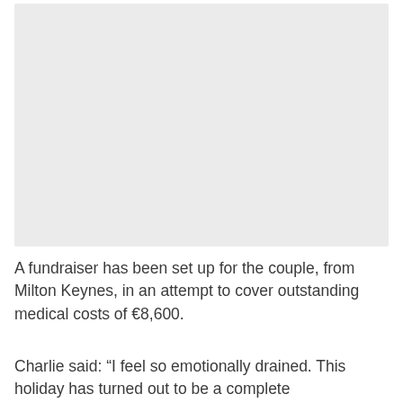[Figure (photo): A light gray placeholder image area, likely representing a photo related to the article.]
A fundraiser has been set up for the couple, from Milton Keynes, in an attempt to cover outstanding medical costs of €8,600.
Charlie said: “I feel so emotionally drained. This holiday has turned out to be a complete